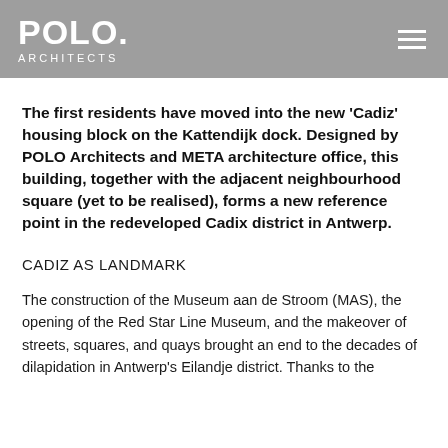POLO. ARCHITECTS
The first residents have moved into the new 'Cadiz' housing block on the Kattendijk dock. Designed by POLO Architects and META architecture office, this building, together with the adjacent neighbourhood square (yet to be realised), forms a new reference point in the redeveloped Cadix district in Antwerp.
CADIZ AS LANDMARK
The construction of the Museum aan de Stroom (MAS), the opening of the Red Star Line Museum, and the makeover of streets, squares, and quays brought an end to the decades of dilapidation in Antwerp's Eilandje district. Thanks to the